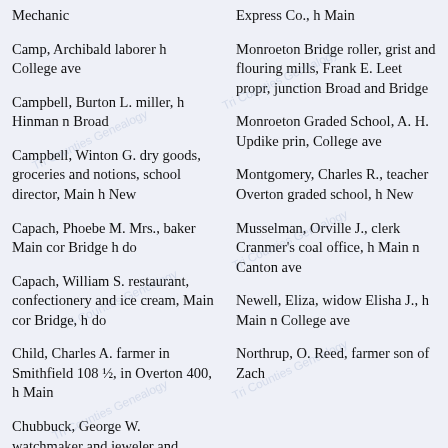Mechanic
Camp, Archibald laborer h College ave
Campbell, Burton L. miller, h Hinman n Broad
Campbell, Winton G. dry goods, groceries and notions, school director, Main h New
Capach, Phoebe M. Mrs., baker Main cor Bridge h do
Capach, William S. restaurant, confectionery and ice cream, Main cor Bridge, h do
Child, Charles A. farmer in Smithfield 108 ½, in Overton 400, h Main
Chubbuck, George W. watchmaker and jeweler and shoemaker Main, h do
Express Co., h Main
Monroeton Bridge roller, grist and flouring mills, Frank E. Leet propr, junction Broad and Bridge
Monroeton Graded School, A. H. Updike prin, College ave
Montgomery, Charles R., teacher Overton graded school, h New
Musselman, Orville J., clerk Cranmer's coal office, h Main n Canton ave
Newell, Eliza, widow Elisha J., h Main n College ave
Northrup, O. Reed, farmer son of Zach